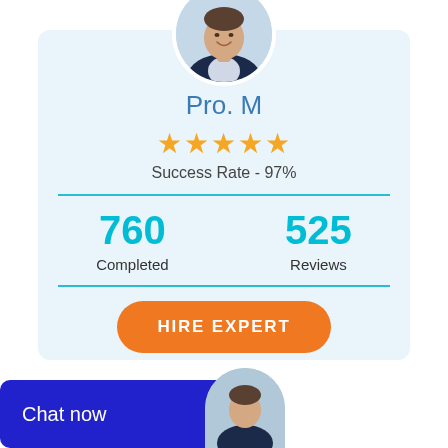[Figure (photo): Profile photo of a man in a dark suit jacket, smiling, circular crop]
Pro. M
★★★★★
Success Rate - 97%
760 Completed
525 Reviews
HIRE EXPERT
Chat now
[Figure (photo): Partial profile photo of a person, circular crop, partially visible at bottom]